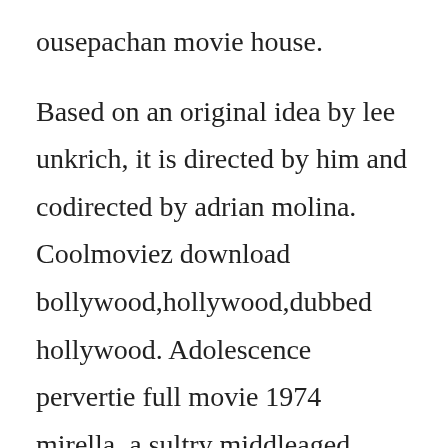ousepachan movie house.
Based on an original idea by lee unkrich, it is directed by him and codirected by adrian molina. Coolmoviez download bollywood,hollywood,dubbed hollywood. Adolescence pervertie full movie 1974 mirella, a sultry middleaged maths teacher, falls in love with a student, alain. Free full movies on youtube and how to watch and download free youtube movies 2020 updated youtube can be considered as the most popular video sharing site and. Hdmovie8